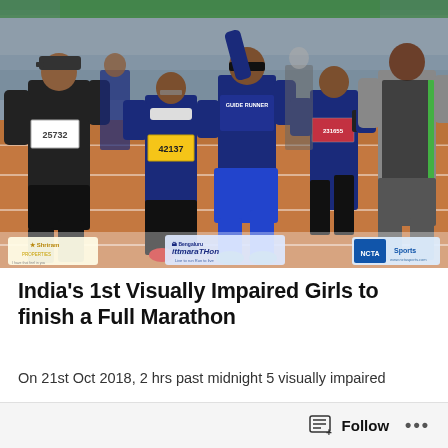[Figure (photo): Runners on a red athletic track at a marathon event. A woman wearing a blindfold and 'Guide Runner' vest raises her arm in celebration, running alongside other participants. Race bibs visible including numbers 25732 and 42137. Sponsor logos at bottom: Shriram Properties, Bengaluru Marathon (ittmarathon), and NICTA Sports.]
India's 1st Visually Impaired Girls to finish a Full Marathon
On 21st Oct 2018, 2 hrs past midnight 5 visually impaired